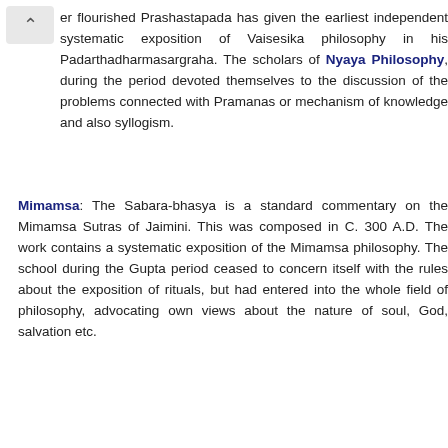er flourished Prashastapada has given the earliest independent systematic exposition of Vaisesika philosophy in his Padarthadharmasargraha. The scholars of Nyaya Philosophy, during the period devoted themselves to the discussion of the problems connected with Pramanas or mechanism of knowledge and also syllogism.
Mimamsa: The Sabara-bhasya is a standard commentary on the Mimamsa Sutras of Jaimini. This was composed in C. 300 A.D. The work contains a systematic exposition of the Mimamsa philosophy. The school during the Gupta period ceased to concern itself with the rules about the exposition of rituals, but had entered into the whole field of philosophy, advocating own views about the nature of soul, God, salvation etc.